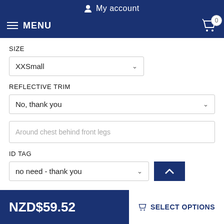My account
MENU  0
SIZE
XXSmall
REFLECTIVE TRIM
No, thank you
Around chest behind front legs
ID TAG
no need - thank you
NZD$59.52
SELECT OPTIONS